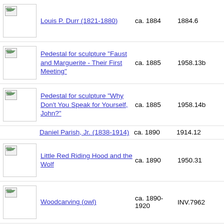Louis P. Durr (1821-1880) | ca. 1884 | 1884.6
Pedestal for sculpture "Faust and Marguerite - Their First Meeting" | ca. 1885 | 1958.13b
Pedestal for sculpture "Why Don't You Speak for Yourself, John?" | ca. 1885 | 1958.14b
Daniel Parish, Jr. (1838-1914) | ca. 1890 | 1914.12
Little Red Riding Hood and the Wolf | ca. 1890 | 1950.31
Woodcarving (owl) | ca. 1890-1920 | INV.7962
Woodcarving (squirrel) | ca. 1890-1920 | INV.7961